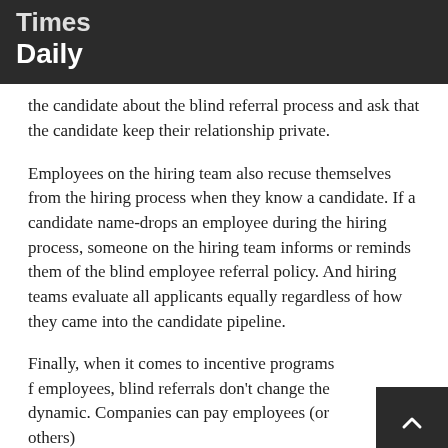Times Daily
the candidate about the blind referral process and ask that the candidate keep their relationship private.
Employees on the hiring team also recuse themselves from the hiring process when they know a candidate. If a candidate name-drops an employee during the hiring process, someone on the hiring team informs or reminds them of the blind employee referral policy. And hiring teams evaluate all applicants equally regardless of how they came into the candidate pipeline.
Finally, when it comes to incentive programs f employees, blind referrals don't change the dynamic. Companies can pay employees (or others)